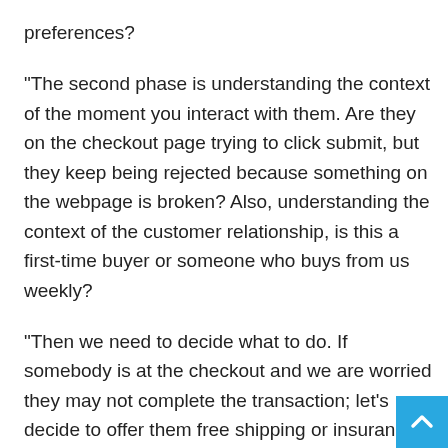preferences?
“The second phase is understanding the context of the moment you interact with them. Are they on the checkout page trying to click submit, but they keep being rejected because something on the webpage is broken? Also, understanding the context of the customer relationship, is this a first-time buyer or someone who buys from us weekly?
“Then we need to decide what to do. If somebody is at the checkout and we are worried they may not complete the transaction; let’s decide to offer them free shipping or insurance on the delivery.
“Then we need to take action by following through on the decision and actually presenting a different message at th moment.”